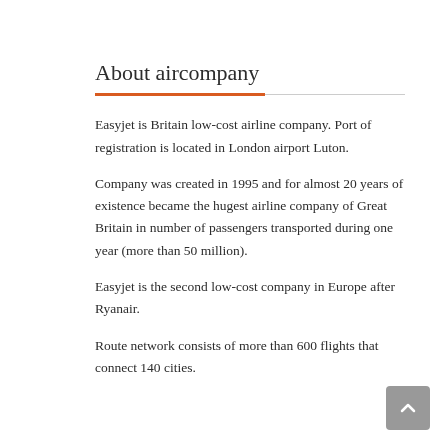About aircompany
Easyjet is Britain low-cost airline company. Port of registration is located in London airport Luton.
Company was created in 1995 and for almost 20 years of existence became the hugest airline company of Great Britain in number of passengers transported during one year (more than 50 million).
Easyjet is the second low-cost company in Europe after Ryanair.
Route network consists of more than 600 flights that connect 140 cities.